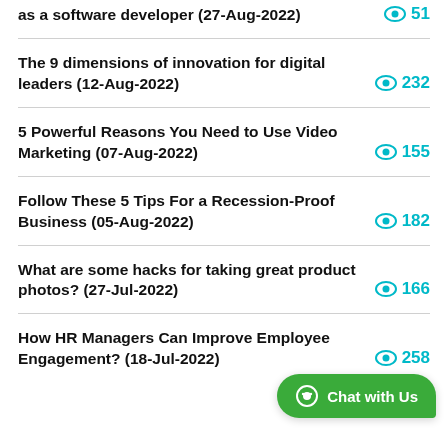as a software developer (27-Aug-2022)   👁 51
The 9 dimensions of innovation for digital leaders (12-Aug-2022)   👁 232
5 Powerful Reasons You Need to Use Video Marketing (07-Aug-2022)   👁 155
Follow These 5 Tips For a Recession-Proof Business (05-Aug-2022)   👁 182
What are some hacks for taking great product photos? (27-Jul-2022)   👁 166
How HR Managers Can Improve Employee Engagement? (18-Jul-2022)   👁 258